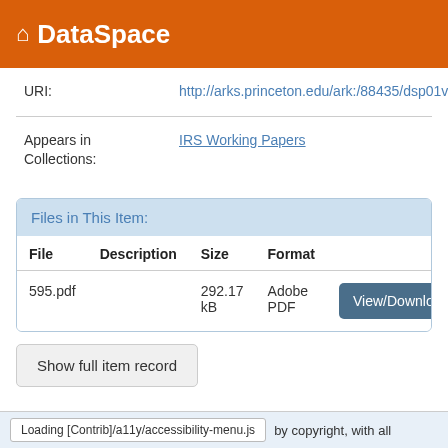DataSpace
URI: http://arks.princeton.edu/ark:/88435/dsp01v692t860
Appears in Collections: IRS Working Papers
| File | Description | Size | Format |
| --- | --- | --- | --- |
| 595.pdf |  | 292.17 kB | Adobe PDF |
Show full item record
Loading [Contrib]/a11y/accessibility-menu.js    by copyright, with all